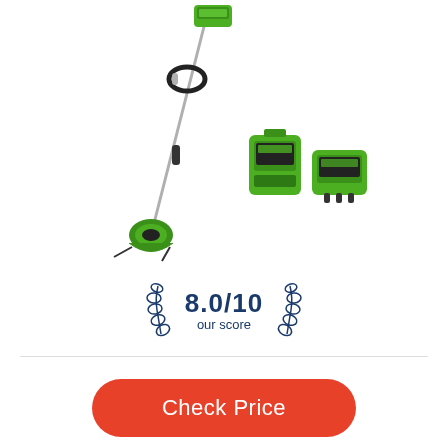[Figure (photo): Green electric string trimmer/weed eater with black handle, long metal shaft, green motor head at bottom, plus a green battery pack and green charger shown separately to the right]
8.0/10 our score
Check Price